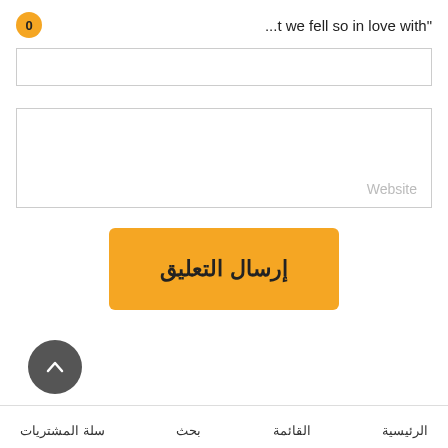0
...t we fell so in love with”
(input field 1)
Website (input field 2)
إرسال التعليق
(scroll to top button)
الرئيسية القائمة بحث سلة المشتريات